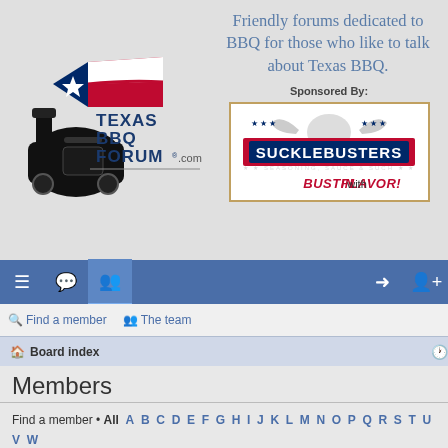[Figure (logo): Texas BBQ Forum .com logo with BBQ smoker and Texas flag]
Friendly forums dedicated to BBQ for those who like to talk about Texas BBQ.
Sponsored By:
[Figure (logo): SuckleBusters Seasoning, Sauce & Such - Bustin with Flavor! logo]
[Figure (screenshot): Navigation bar with hamburger menu, chat, members icons on left; login and user-add icons on right]
Find a member   The team
Board index
Members
Find a member • All A B C D E F G H I J K L M N O P Q R S T U V W X Y Z Other
4868 users  1 2 3 4 5 ... 98 >